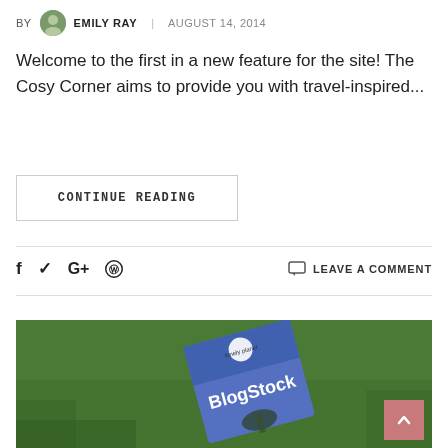BY EMILY RAY | AUGUST 14, 2014
Welcome to the first in a new feature for the site! The Cosy Corner aims to provide you with travel-inspired...
CONTINUE READING
f  ✓  G+  ⊕    LEAVE A COMMENT
[Figure (photo): A Lonely Planet 'BlogStock' book lying on green grass, photographed from above. A scroll-to-top button (pink/salmon color with upward chevron) is visible in the bottom-right corner.]